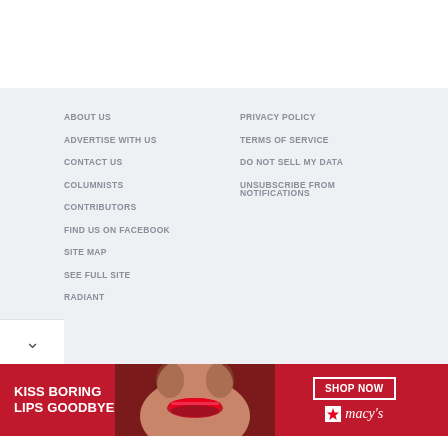ABOUT US
ADVERTISE WITH US
CONTACT US
COLUMNISTS
CONTRIBUTORS
FIND US ON FACEBOOK
SITE MAP
SEE FULL SITE
RADIANT
PRIVACY POLICY
TERMS OF SERVICE
DO NOT SELL MY DATA
UNSUBSCRIBE FROM NOTIFICATIONS
[Figure (photo): Macy's advertisement banner: woman with red lips, text KISS BORING LIPS GOODBYE, SHOP NOW button, Macy's logo with star]